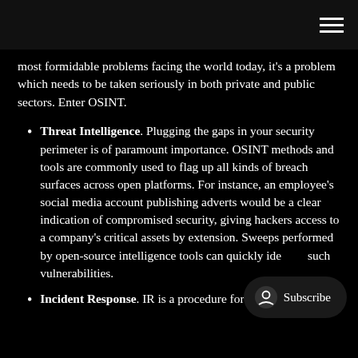most formidable problems facing the world today, it's a problem which needs to be taken seriously in both private and public sectors. Enter OSINT.
Threat Intelligence. Plugging the gaps in your security perimeter is of paramount importance. OSINT methods and tools are commonly used to flag up all kinds of breach surfaces across open platforms. For instance, an employee's social media account publishing adverts would be a clear indication of compromised security, giving hackers access to a company's critical assets by extension. Sweeps performed by open-source intelligence tools can quickly identify such vulnerabilities.
Incident Response. IR is a procedure for ensuring